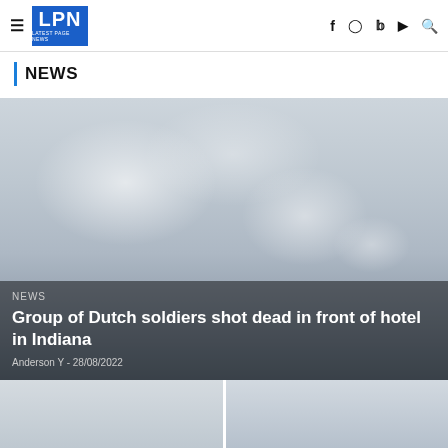LPN Latest Page News — navigation bar with hamburger menu, logo, and social icons (f, Instagram, Twitter, YouTube, Search)
NEWS
[Figure (photo): Foggy atmospheric photo used as hero image for news article about Dutch soldiers shot in Indiana]
NEWS
Group of Dutch soldiers shot dead in front of hotel in Indiana
Anderson Y - 28/08/2022
[Figure (photo): Thumbnail image bottom left]
[Figure (photo): Thumbnail image bottom right]